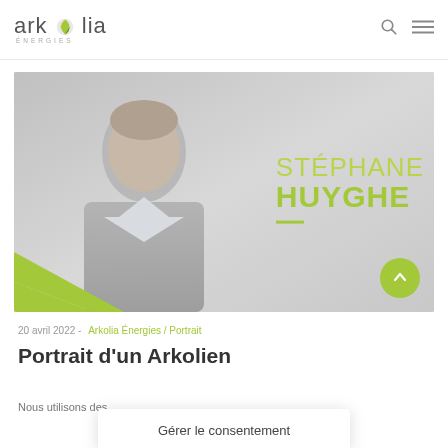arkolia energies
[Figure (photo): Portrait photo of Stéphane Huyghe smiling, wearing a white shirt, overlaid with his name in green text on a grey background with a green diagonal stripe at the bottom left.]
20 avril 2022 -  Arkolia Énergies / Portrait
Portrait d'un Arkolien
Nous utilisons des
Gérer le consentement